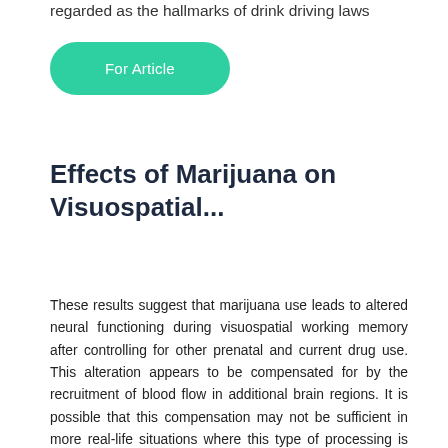regarded as the hallmarks of drink driving laws
[Figure (other): Green rounded rectangle button labeled 'For Article']
Effects of Marijuana on Visuospatial...
These results suggest that marijuana use leads to altered neural functioning during visuospatial working memory after controlling for other prenatal and current drug use. This alteration appears to be compensated for by the recruitment of blood flow in additional brain regions. It is possible that this compensation may not be sufficient in more real-life situations where this type of processing is required and thus deficits may be observed. Awareness of these neural physiological effects of marijuana in youth is critical.